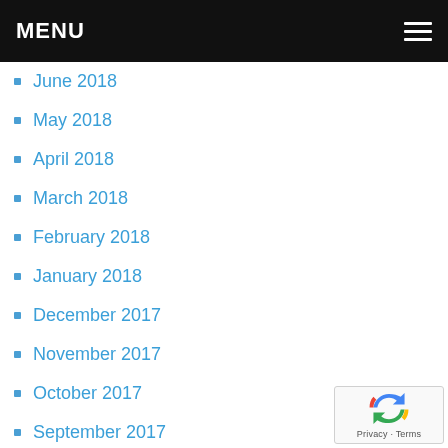MENU
June 2018
May 2018
April 2018
March 2018
February 2018
January 2018
December 2017
November 2017
October 2017
September 2017
August 2017
July 2017
June 2017